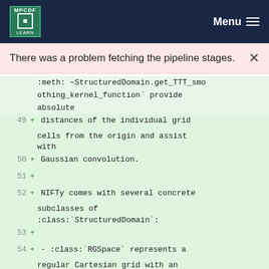MPCDF | Menu
There was a problem fetching the pipeline stages.
:meth: ~StructuredDomain.get_TTT_smoothing_kernel_function` provide absolute
49 + distances of the individual grid cells from the origin and assist with
50 + Gaussian convolution.
51 +
52 + NIFTy comes with several concrete subclasses of :class:`StructuredDomain`:
53 +
54 + - :class:`RGSpace` represents a regular Cartesian grid with an arbitrary
55 + number of dimensions, which is supposed to be periodic in each dimension